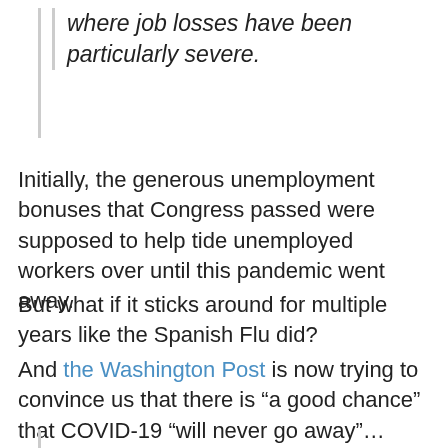where job losses have been particularly severe.
Initially, the generous unemployment bonuses that Congress passed were supposed to help tide unemployed workers over until this pandemic went away.
But what if it sticks around for multiple years like the Spanish Flu did?
And the Washington Post is now trying to convince us that there is “a good chance” that COVID-19 “will never go away”…